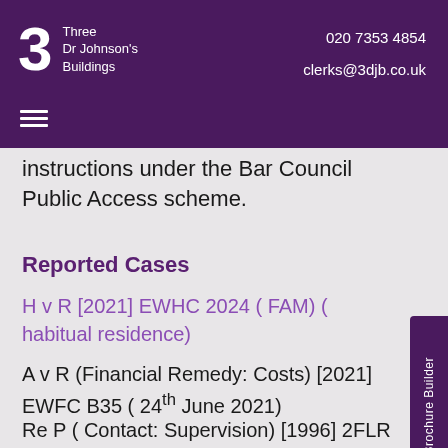Three Dr Johnson's Buildings | 020 7353 4854 | clerks@3djb.co.uk
instructions under the Bar Council Public Access scheme.
Reported Cases
H v R [2021] EWHC 2024 ( FAM) ( habitual residence)
A v R (Financial Remedy: Costs) [2021] EWFC B35 ( 24th June 2021)
Re P ( Contact: Supervision) [1996] 2FLR 314.